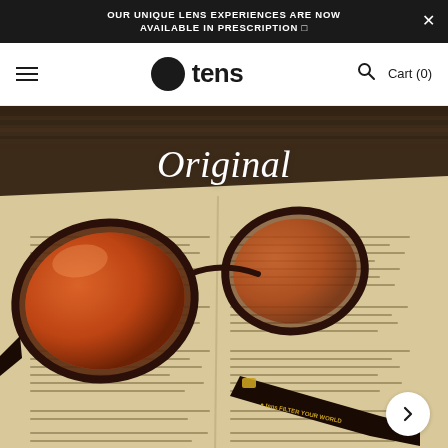OUR UNIQUE LENS EXPERIENCES ARE NOW AVAILABLE IN PRESCRIPTION 🔲
[Figure (logo): Tens sunglasses brand logo: orange and dark circle icon with 'tens' wordmark in bold dark text]
Cart (0)
[Figure (photo): Close-up photograph of Tens branded sunglasses with amber/orange tinted lenses resting on an open book or newspaper. The word 'Original' is overlaid in white cursive script. The sunglasses temple arm shows 'tens FILTER YOUR WORLD' branding. A navigation arrow button is visible in the bottom right corner.]